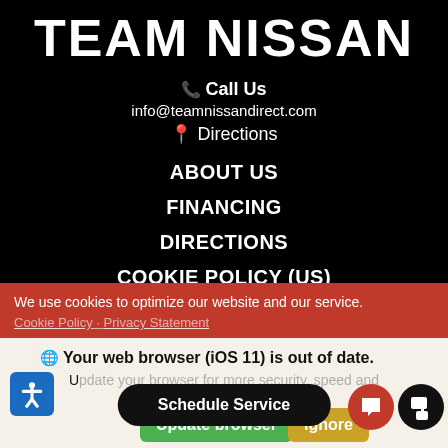TEAM NISSAN
📞 Call Us
info@teamnissandirect.com
📍 Directions
ABOUT US
FINANCING
DIRECTIONS
COOKIE POLICY (US)
DISCLAIMER
We use cookies to optimize our website and our service.
Cookie Policy · Privacy Statement
🌐 Your web browser (iOS 11) is out of date.
Update your browser for more security, speed and the best experience on this site.
Schedule Service
Update browser
Ignore